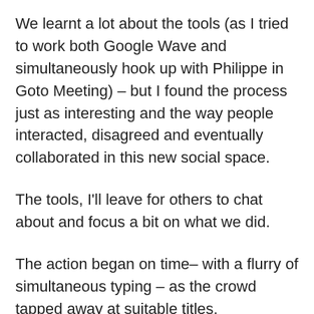We learnt a lot about the tools (as I tried to work both Google Wave and simultaneously hook up with Philippe in Goto Meeting) – but I found the process just as interesting and the way people interacted, disagreed and eventually collaborated in this new social space.
The tools, I'll leave for others to chat about and focus a bit on what we did.
The action began on time– with a flurry of simultaneous typing – as the crowd tapped away at suitable titles.